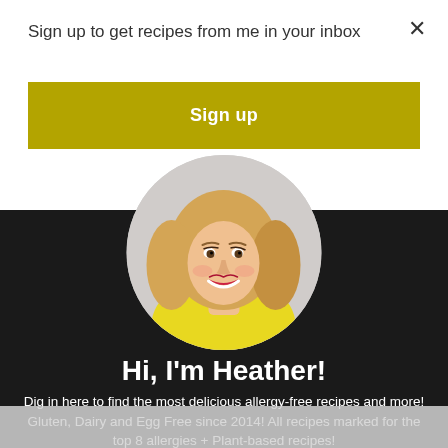Sign up to get recipes from me in your inbox
×
Sign up
[Figure (photo): Circular profile photo of a smiling blonde woman wearing a yellow top, on a gray/white background]
Hi, I'm Heather!
Dig in here to find the most delicious allergy-free recipes and more! Gluten, Dairy and Egg Free since 2014! All recipes marked for the top 8 allergies + Plant-based recipes!